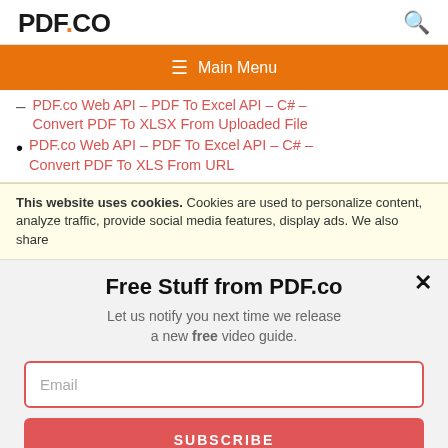PDF.CO
Main Menu
PDF.co Web API – PDF To Excel API – C# – Convert PDF To XLSX From Uploaded File
PDF.co Web API – PDF To Excel API – C# – Convert PDF To XLS From URL
This website uses cookies. Cookies are used to personalize content, analyze traffic, provide social media features, display ads. We also share
Free Stuff from PDF.co
Let us notify you next time we release a new free video guide.
Email
SUBSCRIBE